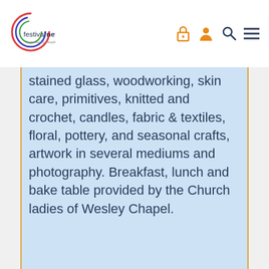festivalnet. Powered by Peoples
stained glass, woodworking, skin care, primitives, knitted and crochet, candles, fabric & textiles, floral, pottery, and seasonal crafts, artwork in several mediums and photography. Breakfast, lunch and bake table provided by the Church ladies of Wesley Chapel.